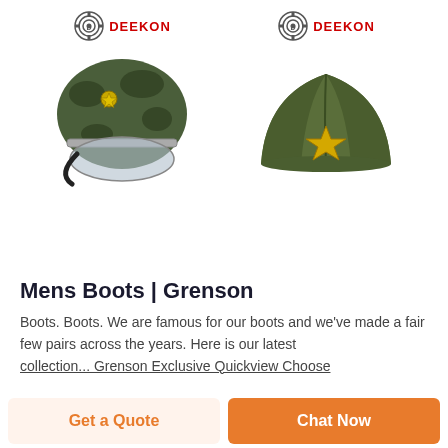[Figure (photo): Deekon logo (circular target icon) above a military/riot helmet with camouflage pattern and clear visor]
[Figure (photo): Deekon logo (circular target icon) above a green military garrison/side cap with a gold star emblem]
Mens Boots | Grenson
Boots. Boots. We are famous for our boots and we've made a fair few pairs across the years. Here is our latest collection... Grenson Exclusive Quickview Choose
Get a Quote
Chat Now